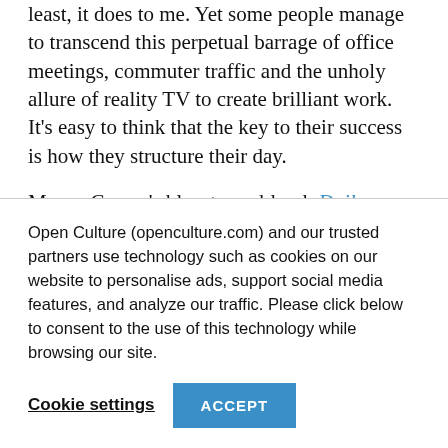least, it does to me. Yet some people manage to transcend this perpetual barrage of office meetings, commuter traffic and the unholy allure of reality TV to create brilliant work. It's easy to think that the key to their success is how they structure their day.
Mason Currey's blog-turned-book Daily Rituals describes the workaday life of great minds from W.H. Auden to Immanuel Kant, from Flannery O'Connor to Franz Kafka. The one thing that Currey's project
Open Culture (openculture.com) and our trusted partners use technology such as cookies on our website to personalise ads, support social media features, and analyze our traffic. Please click below to consent to the use of this technology while browsing our site.
Cookie settings  ACCEPT